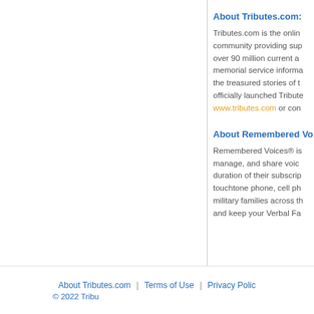About Tributes.com:
Tributes.com is the online community providing support over 90 million current and memorial service information, the treasured stories of those officially launched Tributes.com www.tributes.com or con
About Remembered Vo
Remembered Voices® is manage, and share voice duration of their subscription touchtone phone, cell phone military families across the and keep your Verbal Fa
About Tributes.com | Terms of Use | Privacy Policy © 2022 Tribu